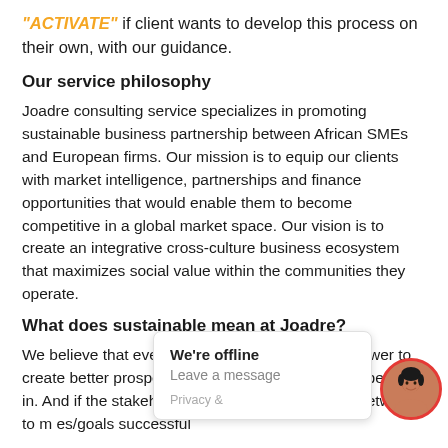"ACTIVATE" if client wants to develop this process on their own, with our guidance.
Our service philosophy
Joadre consulting service specializes in promoting sustainable business partnership between African SMEs and European firms. Our mission is to equip our clients with market intelligence, partnerships and finance opportunities that would enable them to become competitive in a global market space. Our vision is to create an integrative cross-culture business ecosystem that maximizes social value within the communities they operate.
What does sustainable mean at Joadre?
We believe that every business venture has the power to create better prospects for the communities they operate in. And if the stakeholders operate with mutual respect and consideration, the communities and network to m... es/goals successful